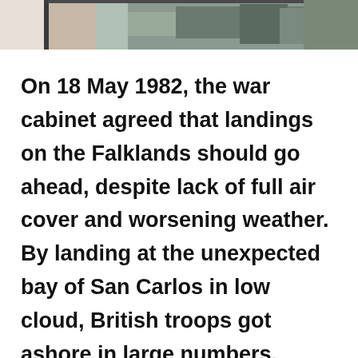[Figure (photo): Partial photograph showing a person or military equipment, cropped at the top of the page. Dark and muted tones suggesting outdoor military or historical scene.]
On 18 May 1982, the war cabinet agreed that landings on the Falklands should go ahead, despite lack of full air cover and worsening weather. By landing at the unexpected bay of San Carlos in low cloud, British troops got ashore in large numbers. Heavy Argentine air attacks, however, took a serious toll. Two frigates